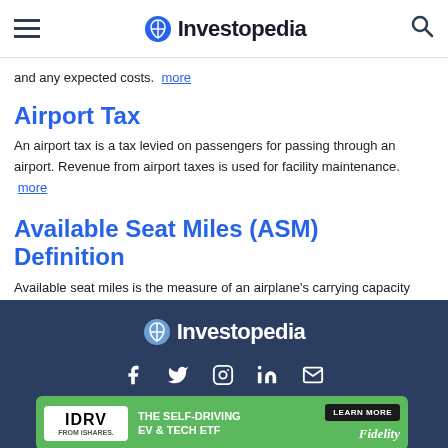Investopedia
and any expected costs. more
Airport Tax
An airport tax is a tax levied on passengers for passing through an airport. Revenue from airport taxes is used for facility maintenance. more
Available Seat Miles (ASM) Definition
Available seat miles is the measure of an airplane's carrying capacity available to generate revenues. more
Investopedia footer with social icons and advertisement: IDRV FROM iSHARES. THE SELF-DRIVING EV & TECH ETF. LEARN MORE. Fidelity.